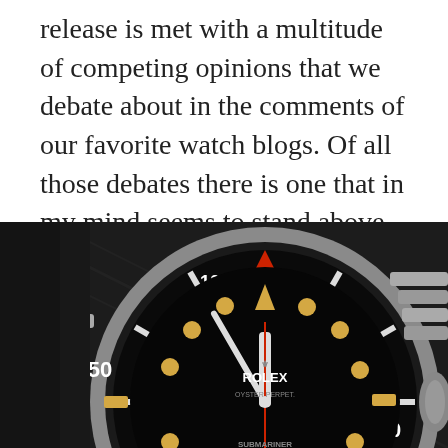release is met with a multitude of competing opinions that we debate about in the comments of our favorite watch blogs. Of all those debates there is one that in my mind seems to stand above the rest in the current watch zeitgeist. That issue is the pros and cons of faux patina–or fauxtina as it is commonly referred to.
[Figure (photo): Close-up photo of a Rolex Submariner watch with a black dial, aged yellow/amber luminous markers (fauxtina), red triangle on bezel, and oyster bracelet, set against a dark background.]